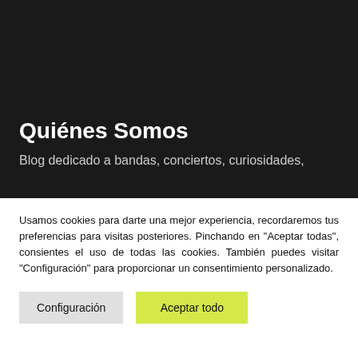Quiénes Somos
Blog dedicado a bandas, conciertos, curiosidades,
Usamos cookies para darte una mejor experiencia, recordaremos tus preferencias para visitas posteriores. Pinchando en "Aceptar todas", consientes el uso de todas las cookies. También puedes visitar "Configuración" para proporcionar un consentimiento personalizado.
Configuración
Aceptar todo